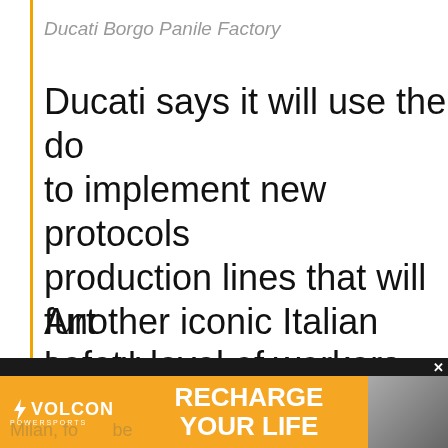Ducati Borgo Panile Factory
Ducati says it will use the do to implement new protocols production lines that will furt safety level of workers.
Another iconic Italian brand,
also shuttered its factory in
[Figure (other): Advertisement banner for VOLCON powersports with orange background showing 'RECHARGE YOUR LIFE' text and a photo of a rider]